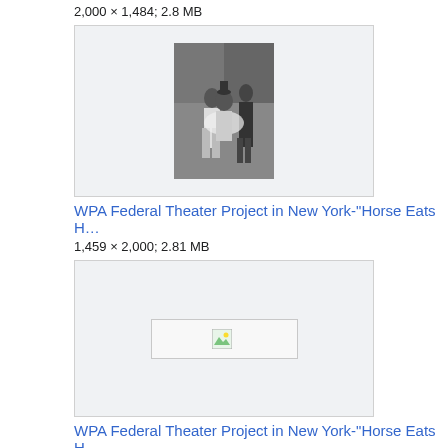2,000 × 1,484; 2.8 MB
[Figure (photo): Black and white theater photograph showing performers on stage, WPA Federal Theater Project]
WPA Federal Theater Project in New York-"Horse Eats H…
1,459 × 2,000; 2.81 MB
[Figure (photo): Broken/unloaded image placeholder for second WPA Federal Theater Project photo]
WPA Federal Theater Project in New York-"Horse Eats H…
2,000 × 1,385; 2.67 MB